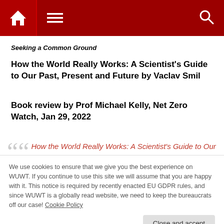WUWT header navigation bar
Seeking a Common Ground
How the World Really Works: A Scientist's Guide to Our Past, Present and Future by Vaclav Smil
Book review by Prof Michael Kelly, Net Zero Watch, Jan 29, 2022
How the World Really Works: A Scientist's Guide to Our
We use cookies to ensure that we give you the best experience on WUWT. If you continue to use this site we will assume that you are happy with it. This notice is required by recently enacted EU GDPR rules, and since WUWT is a globally read website, we need to keep the bureaucrats off our case! Cookie Policy
"The four materials pillars of modern living are ammonia